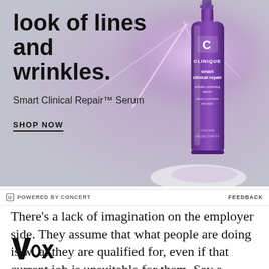[Figure (illustration): Clinique Smart Clinical Repair Serum advertisement. Light gray-purple gradient background with laser light streaks. Large bold text 'look of lines and wrinkles.' on the left. Product subheading 'Smart Clinical Repair™ Serum'. 'SHOP NOW' button with underline. Purple Clinique serum bottle on the right with label reading 'CLINIQUE smart clinical repair wrinkle correcting serum / sérum correcteur anti-rides'.]
POWERED BY CONCERT    FEEDBACK
There's a lack of imagination on the employer side. They assume that what people are doing is what they are qualified for, even if that current job is unsuitable for them. Say a person is working part
[Figure (logo): Vox media logo in bold black serif font]